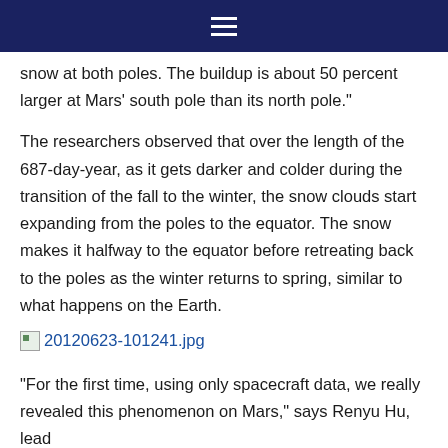snow at both poles. The buildup is about 50 percent larger at Mars’ south pole than its north pole.”
The researchers observed that over the length of the 687-day-year, as it gets darker and colder during the transition of the fall to the winter, the snow clouds start expanding from the poles to the equator. The snow makes it halfway to the equator before retreating back to the poles as the winter returns to spring, similar to what happens on the Earth.
[Figure (other): Broken image link labeled 20120623-101241.jpg]
“For the first time, using only spacecraft data, we really revealed this phenomenon on Mars,” says Renyu Hu, lead